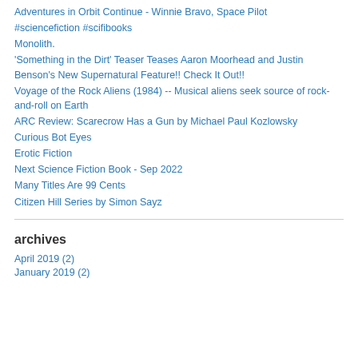Adventures in Orbit Continue - Winnie Bravo, Space Pilot
#sciencefiction #scifibooks
Monolith.
'Something in the Dirt' Teaser Teases Aaron Moorhead and Justin Benson's New Supernatural Feature!! Check It Out!!
Voyage of the Rock Aliens (1984) -- Musical aliens seek source of rock-and-roll on Earth
ARC Review: Scarecrow Has a Gun by Michael Paul Kozlowsky
Curious Bot Eyes
Erotic Fiction
Next Science Fiction Book - Sep 2022
Many Titles Are 99 Cents
Citizen Hill Series by Simon Sayz
archives
April 2019 (2)
January 2019 (2)